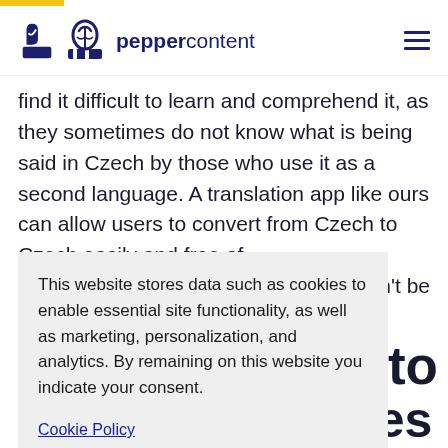peppercontent
find it difficult to learn and comprehend it, as they sometimes do not know what is being said in Czech by those who use it as a second language. A translation app like ours can allow users to convert from Czech to Czech easily and free of [charge. It shouldn't be
This website stores data such as cookies to enable essential site functionality, as well as marketing, personalization, and analytics. By remaining on this website you indicate your consent.
Cookie Policy
ech to Estonian phrases